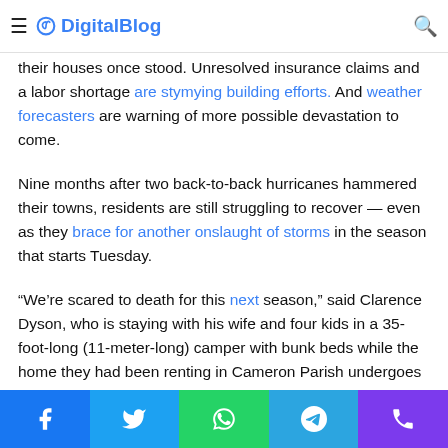DigitalBlog
their houses once stood. Unresolved insurance claims and a labor shortage are stymying building efforts. And weather forecasters are warning of more possible devastation to come.
Nine months after two back-to-back hurricanes hammered their towns, residents are still struggling to recover — even as they brace for another onslaught of storms in the season that starts Tuesday.
“We’re scared to death for this next season,” said Clarence Dyson, who is staying with his wife and four kids in a 35-foot-long (11-meter-long) camper with bunk beds while the home they had been renting in Cameron Parish undergoes repairs after Hurricane Laura.
Social share bar: Facebook, Twitter, WhatsApp, Telegram, Phone